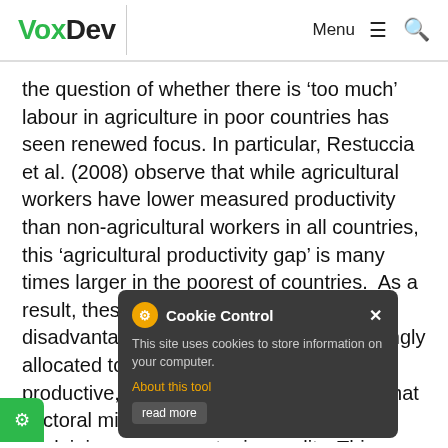VoxDev — Menu (hamburger) Search
the question of whether there is 'too much' labour in agriculture in poor countries has seen renewed focus. In particular, Restuccia et al. (2008) observe that while agricultural workers have lower measured productivity than non-agricultural workers in all countries, this 'agricultural productivity gap' is many times larger in the poorest of countries.  As a result, these countries face a double disadvantage where labour is overwhelmingly allocated to a sector that is much less productive, and this raises the possibility that sectoral misallocation is a key factor in explaining cross-country inequality. This belief, in turn, motivates current anti-poverty efforts centred the use of industrial and social policies that ...vise movement of workers out of rural
[Figure (screenshot): Cookie Control popup overlay showing title 'Cookie Control' with a cogwheel/gear icon, close button (x), text 'This site uses cookies to store information on your computer.', an 'About this tool' orange link, and a 'read more' button in a dark grey rounded rectangle.]